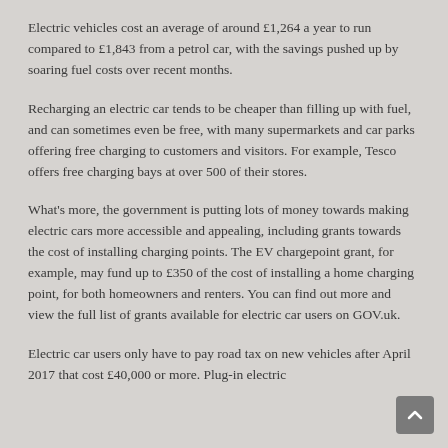Electric vehicles cost an average of around £1,264 a year to run compared to £1,843 from a petrol car, with the savings pushed up by soaring fuel costs over recent months.
Recharging an electric car tends to be cheaper than filling up with fuel, and can sometimes even be free, with many supermarkets and car parks offering free charging to customers and visitors. For example, Tesco offers free charging bays at over 500 of their stores.
What's more, the government is putting lots of money towards making electric cars more accessible and appealing, including grants towards the cost of installing charging points. The EV chargepoint grant, for example, may fund up to £350 of the cost of installing a home charging point, for both homeowners and renters. You can find out more and view the full list of grants available for electric car users on GOV.uk.
Electric car users only have to pay road tax on new vehicles after April 2017 that cost £40,000 or more. Plug-in electric